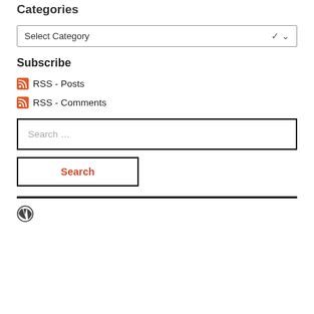Categories
Select Category
Subscribe
RSS - Posts
RSS - Comments
Search …
Search
[Figure (logo): WordPress logo icon]